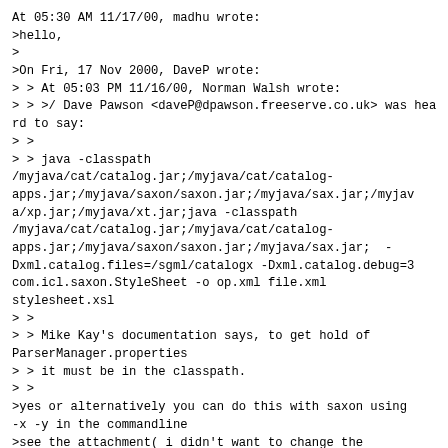At 05:30 AM 11/17/00, madhu wrote:
>hello,
>
>On Fri, 17 Nov 2000, DaveP wrote:
> > At 05:03 PM 11/16/00, Norman Walsh wrote:
> > >/ Dave Pawson <daveP@dpawson.freeserve.co.uk> was heard to say:
> >
> > java -classpath /myjava/cat/catalog.jar;/myjava/cat/catalog-apps.jar;/myjava/saxon/saxon.jar;/myjava/sax.jar;/myjava/xp.jar;/myjava/xt.jar;java -classpath /myjava/cat/catalog.jar;/myjava/cat/catalog-apps.jar;/myjava/saxon/saxon.jar;/myjava/sax.jar;  -Dxml.catalog.files=/sgml/catalogx -Dxml.catalog.debug=3 com.icl.saxon.StyleSheet -o op.xml file.xml stylesheet.xsl
> >
> > Mike Kay's documentation says, to get hold of ParserManager.properties
> > it must be in the classpath.
> >
>yes or alternatively you can do this with saxon using -x -y in the commandline
>see the attachment( i didn't want to change the settings of my mailer) ;-)

One concern I have over this.
Norm describes his java as an entity resolver.